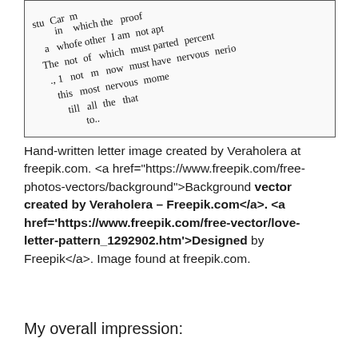[Figure (photo): Image of a hand-written letter in cursive script, with illegible text on white/light background, bordered by a thin rectangle.]
Hand-written letter image created by Veraholera at freepik.com. <a href="https://www.freepik.com/free-photos-vectors/background">Background vector created by Veraholera – Freepik.com</a>. <a href='https://www.freepik.com/free-vector/love-letter-pattern_1292902.htm'>Designed by Freepik</a>. Image found at freepik.com.
My overall impression: